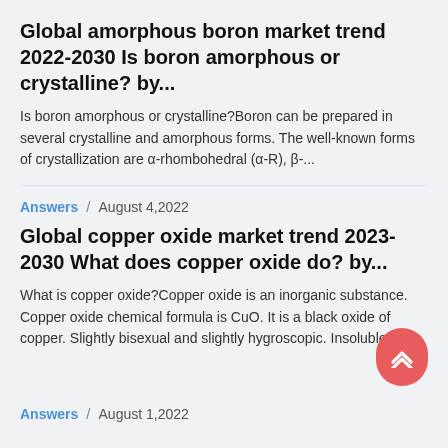Global amorphous boron market trend 2022-2030 Is boron amorphous or crystalline? by...
Is boron amorphous or crystalline?Boron can be prepared in several crystalline and amorphous forms. The well-known forms of crystallization are α-rhombohedral (α-R), β-...
Answers  /  August 4,2022
Global copper oxide market trend 2023-2030 What does copper oxide do? by...
What is copper oxide?Copper oxide is an inorganic substance. Copper oxide chemical formula is CuO. It is a black oxide of copper. Slightly bisexual and slightly hygroscopic. Insoluble in...
Answers  /  August 1,2022